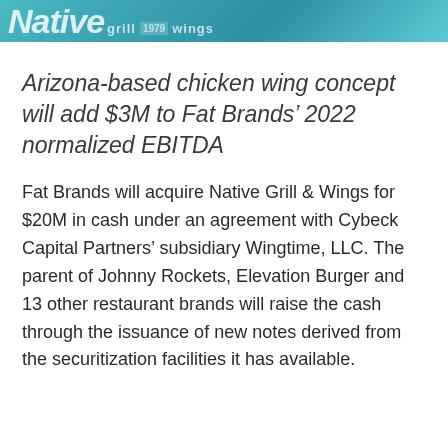Native grill 1979 wings
Arizona-based chicken wing concept will add $3M to Fat Brands' 2022 normalized EBITDA
Fat Brands will acquire Native Grill & Wings for $20M in cash under an agreement with Cybeck Capital Partners' subsidiary Wingtime, LLC. The parent of Johnny Rockets, Elevation Burger and 13 other restaurant brands will raise the cash through the issuance of new notes derived from the securitization facilities it has available.